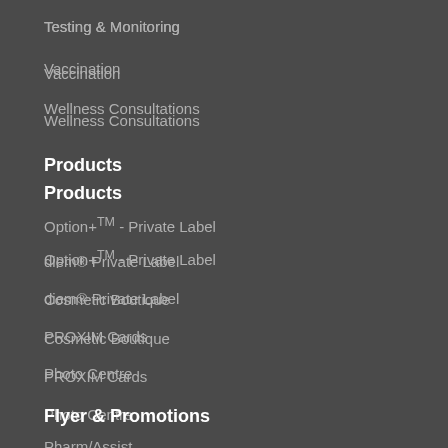Testing & Monitoring
Vaccination
Wellness Consultations
Products
Option+TM - Private Label
diem® Private Label
Cosmetic Boutique
PROXIM Cards
Photo Centre
Flyer & Promotions
Pharm/Assist